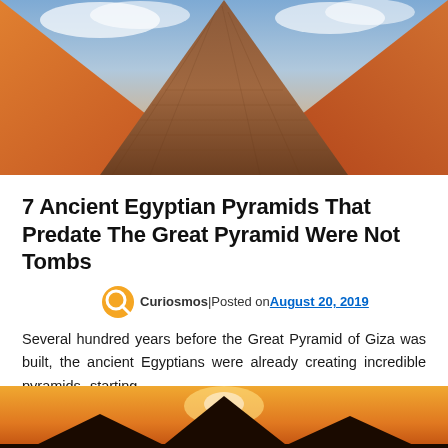[Figure (photo): Close-up aerial/perspective view of an ancient Egyptian pyramid with reddish-brown stone blocks; dramatic sky with clouds in background]
7 Ancient Egyptian Pyramids That Predate The Great Pyramid Were Not Tombs
Curiosmos|Posted on August 20, 2019
Several hundred years before the Great Pyramid of Giza was built, the ancient Egyptians were already creating incredible pyramids, starting...
[Figure (photo): Bottom portion: desert landscape with pyramids silhouetted against an orange sunset sky]